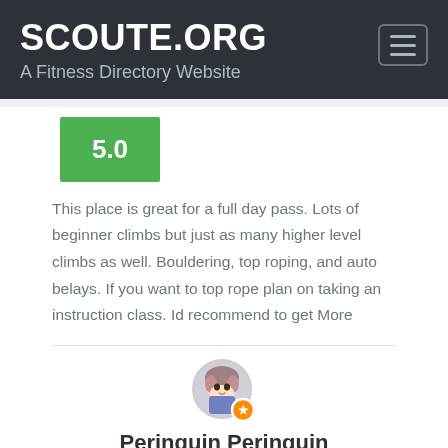SCOUTE.ORG
A Fitness Directory Website
5.0
This place is great for a full day pass. Lots of beginner climbs but just as many higher level climbs as well. Bouldering, top roping, and auto belays. If you want to top rope plan on taking an instruction class. Id recommend to get More
[Figure (photo): User avatar/profile image circle with orange badge]
Peringuin Peringuin
11 months ago
5.0